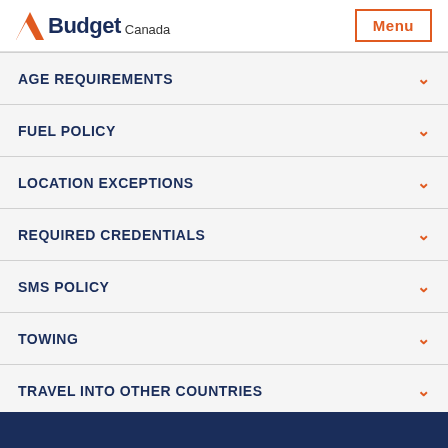Budget Canada | Menu
AGE REQUIREMENTS
FUEL POLICY
LOCATION EXCEPTIONS
REQUIRED CREDENTIALS
SMS POLICY
TOWING
TRAVEL INTO OTHER COUNTRIES
E-TOLLS